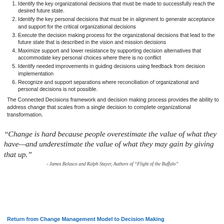Identify the key organizational decisions that must be made to successfully reach the desired future state.
Identify the key personal decisions that must be in alignment to generate acceptance and support for the critical organizational decisions
Execute the decision making process for the organizational decisions that lead to the future state that is described in the vision and mission decisions
Maximize support and lower resistance by supporting decision alternatives that accommodate key personal choices where there is no conflict
Identify needed improvements in guiding decisions using feedback from decision implementation
Recognize and support separations where reconciliation of organizational and personal decisions is not possible.
The Connected Decisions framework and decision making process provides the ability to address change that scales from a single decision to complete organizational transformation.
"Change is hard because people overestimate the value of what they have—and underestimate the value of what they may gain by giving that up."
- James Belasco and Ralph Stayer, Authors of "Flight of the Buffalo"
Return from Change Management Model to Decision Making